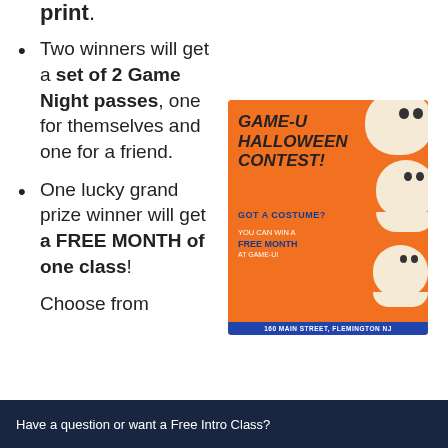print.
Two winners will get a set of 2 Game Night passes, one for themselves and one for a friend.
One lucky grand prize winner will get a FREE MONTH of one class!
Choose from
[Figure (infographic): Game-U Halloween Contest flyer with orange background, cartoon ghosts, text: GAME-U HALLOWEEN CONTEST! GOT A COSTUME? YOU CAN WIN A FREE MONTH AT GAME-U! 160 MAIN STREET, FLEMINGTON NJ]
Have a question or want a Free Intro Class?